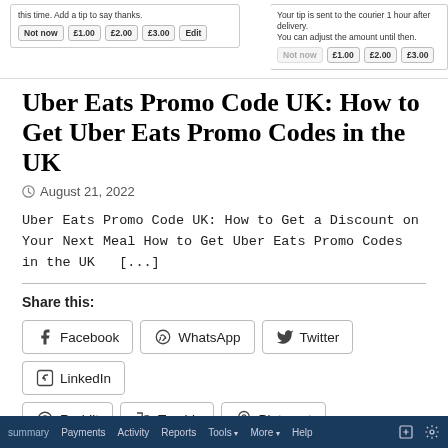[Figure (screenshot): Screenshot of a tip/tipping UI with buttons 'Not now', '£1.00', '£2.00', '£3.00', 'Edit' on the left side, and 'Your tip is sent to the courier 1 hour after delivery. You can adjust the amount until then.' on the right side with similar buttons partially visible.]
Uber Eats Promo Code UK: How to Get Uber Eats Promo Codes in the UK
August 21, 2022
Uber Eats Promo Code UK: How to Get a Discount on Your Next Meal How to Get Uber Eats Promo Codes in the UK   [...]
Share this:
Facebook  WhatsApp  Twitter  LinkedIn  Reddit  Tumblr  Pinterest
Like this:
Loading...
[Figure (screenshot): Bottom browser taskbar in dark blue showing navigation items: summary, Payments, Activity, Reports, Tools, More, Help, with icons on the right.]